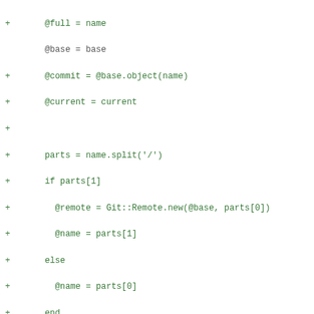Code diff showing Ruby git branch initialization with added lines for @full, @commit, @current, parts split logic, @remote/@name assignment, and diff header for branches.rb file with @branches = {} addition